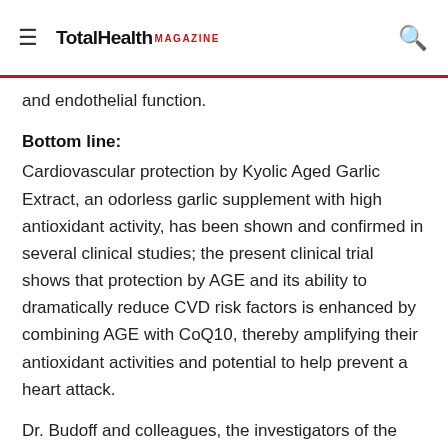TotalHealth MAGAZINE
and endothelial function.
Bottom line:
Cardiovascular protection by Kyolic Aged Garlic Extract, an odorless garlic supplement with high antioxidant activity, has been shown and confirmed in several clinical studies; the present clinical trial shows that protection by AGE and its ability to dramatically reduce CVD risk factors is enhanced by combining AGE with CoQ10, thereby amplifying their antioxidant activities and potential to help prevent a heart attack.
Dr. Budoff and colleagues, the investigators of the UCLA firefighters' study conclude that "the combination of AGE and CoQ10 was independently